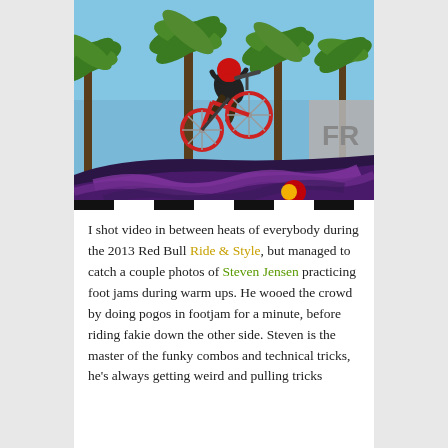[Figure (photo): A BMX rider performing a trick mid-air on a colorful ramp with palm trees and a blue sky in the background. The rider wears a red helmet and black clothing, riding a red/blue bike. A Red Bull branded ramp is visible.]
I shot video in between heats of everybody during the 2013 Red Bull Ride & Style, but managed to catch a couple photos of Steven Jensen practicing foot jams during warm ups. He wooed the crowd by doing pogos in footjam for a minute, before riding fakie down the other side. Steven is the master of the funky combos and technical tricks, he's always getting weird and pulling tricks